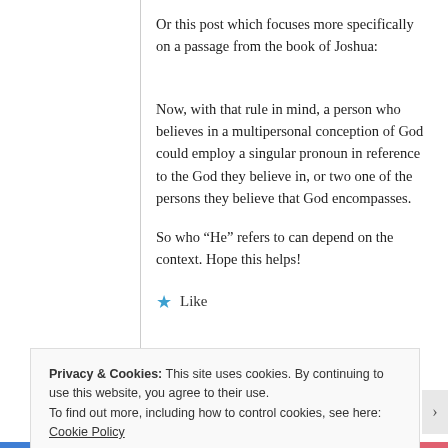Or this post which focuses more specifically on a passage from the book of Joshua:
Now, with that rule in mind, a person who believes in a multipersonal conception of God could employ a singular pronoun in reference to the God they believe in, or two one of the persons they believe that God encompasses.
So who “He” refers to can depend on the context. Hope this helps!
Like
Privacy & Cookies: This site uses cookies. By continuing to use this website, you agree to their use.
To find out more, including how to control cookies, see here: Cookie Policy
Close and accept